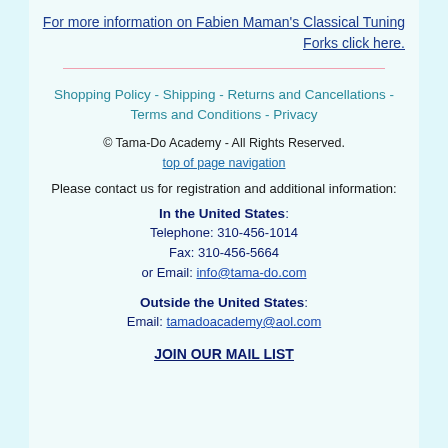For more information on Fabien Maman's Classical Tuning Forks click here.
Shopping Policy - Shipping - Returns and Cancellations - Terms and Conditions - Privacy
© Tama-Do Academy - All Rights Reserved.
top of page navigation
Please contact us for registration and additional information:
In the United States: Telephone: 310-456-1014 Fax: 310-456-5664 or Email: info@tama-do.com
Outside the United States: Email: tamadoacademy@aol.com
JOIN OUR MAIL LIST